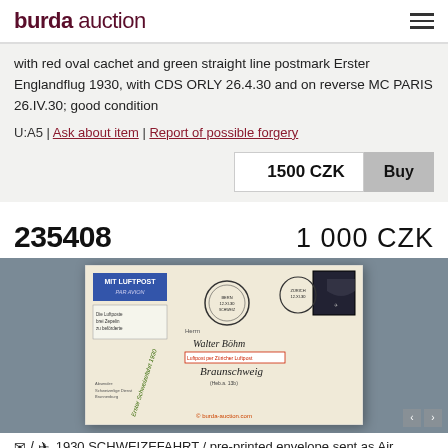burda auction
with red oval cachet and green straight line postmark Erster Englandflug 1930, with CDS ORLY 26.4.30 and on reverse MC PARIS 26.IV.30; good condition
U:A5 | Ask about item | Report of possible forgery
1500 CZK  Buy
235408
1 000 CZK
[Figure (photo): Envelope/cover with MIT LUFTPOST label, green diagonal postmark reading Erster Schweizefahrt 1930, circular cancellations, stamp, addressed to Walter Böhm in Braunschweig, with copyright watermark burda-auction.com]
1930 SCHWEIZEFAHRT / pre-printed envelope sent as Air